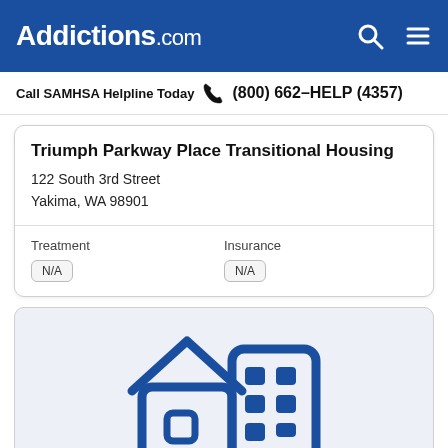Addictions.com
Call SAMHSA Helpline Today  (800) 662-HELP (4357)
Triumph Parkway Place Transitional Housing
122 South 3rd Street
Yakima, WA 98901
| Treatment | Insurance |
| --- | --- |
| N/A | N/A |
[Figure (illustration): Blue icon of a house and a building (transitional housing illustration) on a light blue-grey background card]